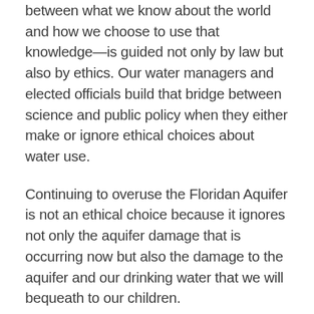between what we know about the world and how we choose to use that knowledge—is guided not only by law but also by ethics. Our water managers and elected officials build that bridge between science and public policy when they either make or ignore ethical choices about water use.
Continuing to overuse the Floridan Aquifer is not an ethical choice because it ignores not only the aquifer damage that is occurring now but also the damage to the aquifer and our drinking water that we will bequeath to our children.
The Council urges our water managers and elected officials to take a much stronger ethical stand than they have demonstrated until now. We urge these groups to show leadership on